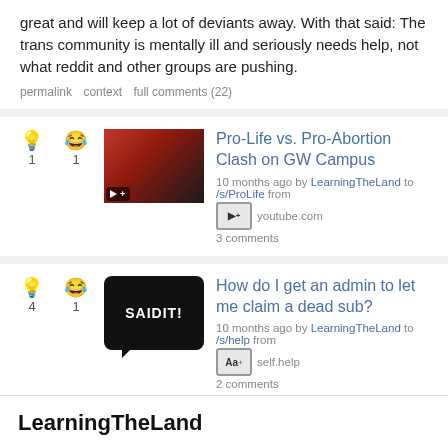great and will keep a lot of deviants away. With that said: The trans community is mentally ill and seriously needs help, not what reddit and other groups are pushing.
permalink  context  full comments (22)
Pro-Life vs. Pro-Abortion Clash on GW Campus
10 months ago by LearningTheLand to /s/ProLife from youtube.com
3 comments
How do I get an admin to let me claim a dead sub?
10 months ago by LearningTheLand to /s/help from self.help
2 comments
LearningTheLand